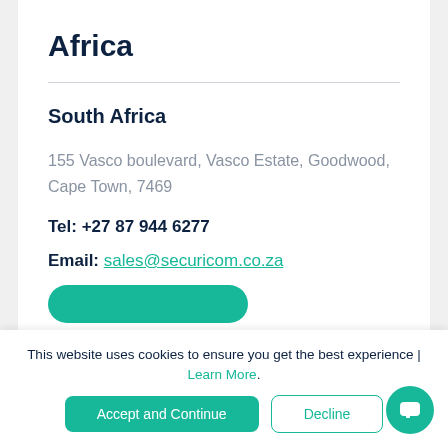Africa
South Africa
155 Vasco boulevard, Vasco Estate, Goodwood, Cape Town, 7469
Tel: +27 87 944 6277
Email: sales@securicom.co.za
This website uses cookies to ensure you get the best experience | Learn More.
Accept and Continue
Decline